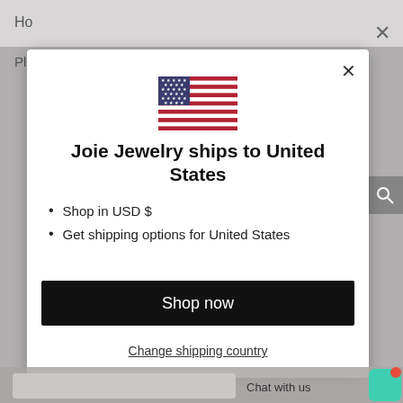[Figure (screenshot): Screenshot of Joie Jewelry website with a modal dialog overlay on a gray background. The modal shows a US flag, a shipping destination message, bullet points about USD and shipping, a Shop now button, and a Change shipping country link.]
Joie Jewelry ships to United States
Shop in USD $
Get shipping options for United States
Shop now
Change shipping country